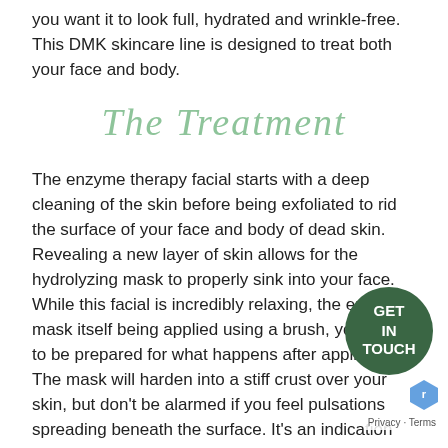you want it to look full, hydrated and wrinkle-free. This DMK skincare line is designed to treat both your face and body.
The Treatment
The enzyme therapy facial starts with a deep cleaning of the skin before being exfoliated to rid the surface of your face and body of dead skin. Revealing a new layer of skin allows for the hydrolyzing mask to properly sink into your face. While this facial is incredibly relaxing, the enzyme mask itself being applied using a brush, you need to be prepared for what happens after application. The mask will harden into a stiff crust over your skin, but don't be alarmed if you feel pulsations spreading beneath the surface. It's an indication that the mask is working as blood flows to the surface of your skin. The intense pulsing won't last long, but expect your skin to be red and possibly blotchy afterwards. Soothing gels and serums are then applied
[Figure (logo): Green circular badge with text GET IN TOUCH]
[Figure (illustration): reCAPTCHA logo]
Privacy · Terms